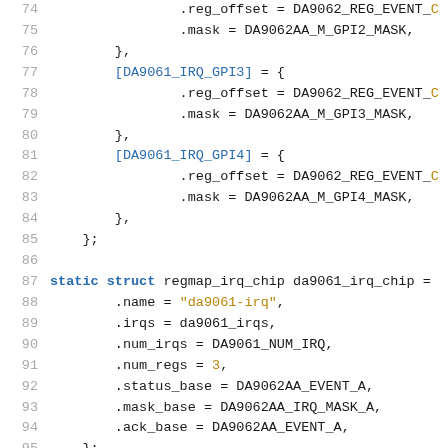Source code listing lines 74-95, C code for da9061 IRQ chip configuration
74: .reg_offset = DA9062_REG_EVENT_C
75: .mask = DA9062AA_M_GPI2_MASK,
76: },
77: [DA9061_IRQ_GPI3] = {
78: .reg_offset = DA9062_REG_EVENT_C
79: .mask = DA9062AA_M_GPI3_MASK,
80: },
81: [DA9061_IRQ_GPI4] = {
82: .reg_offset = DA9062_REG_EVENT_C
83: .mask = DA9062AA_M_GPI4_MASK,
84: },
85: };
86:
87: static struct regmap_irq_chip da9061_irq_chip =
88: .name = "da9061-irq",
89: .irqs = da9061_irqs,
90: .num_irqs = DA9061_NUM_IRQ,
91: .num_regs = 3,
92: .status_base = DA9062AA_EVENT_A,
93: .mask_base = DA9062AA_IRQ_MASK_A,
94: .ack_base = DA9062AA_EVENT_A,
95: };